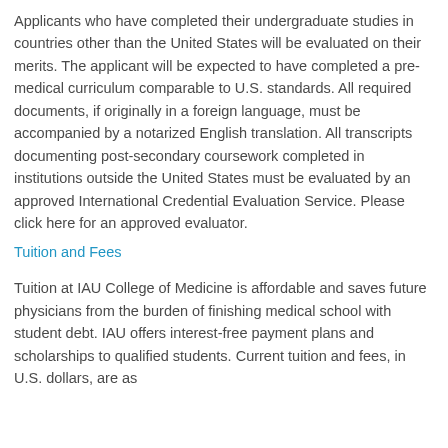Applicants who have completed their undergraduate studies in countries other than the United States will be evaluated on their merits. The applicant will be expected to have completed a pre-medical curriculum comparable to U.S. standards. All required documents, if originally in a foreign language, must be accompanied by a notarized English translation. All transcripts documenting post-secondary coursework completed in institutions outside the United States must be evaluated by an approved International Credential Evaluation Service. Please click here for an approved evaluator.
Tuition and Fees
Tuition at IAU College of Medicine is affordable and saves future physicians from the burden of finishing medical school with student debt. IAU offers interest-free payment plans and scholarships to qualified students. Current tuition and fees, in U.S. dollars, are as